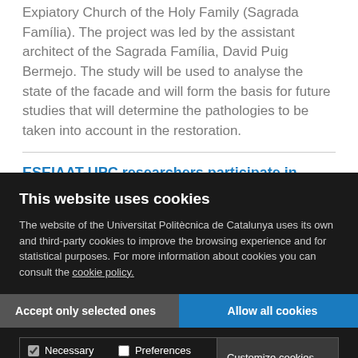Expiatory Church of the Holy Family (Sagrada Família). The project was led by the assistant architect of the Sagrada Família, David Puig Bermejo. The study will be used to analyse the state of the facade and will form the basis for future studies that will determine the pathologies to be taken into account in the restoration.
ESEIAAT-UPC researchers participate in space mission to study gigantic lightning jets
This website uses cookies
The website of the Universitat Politècnica de Catalunya uses its own and third-party cookies to improve the browsing experience and for statistical purposes. For more information about cookies you can consult the cookie policy.